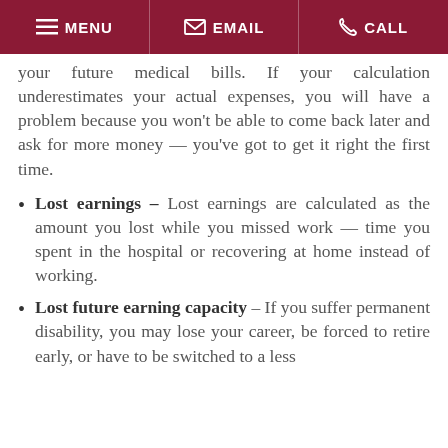MENU  EMAIL  CALL
your future medical bills. If your calculation underestimates your actual expenses, you will have a problem because you won't be able to come back later and ask for more money — you've got to get it right the first time.
Lost earnings – Lost earnings are calculated as the amount you lost while you missed work — time you spent in the hospital or recovering at home instead of working.
Lost future earning capacity – If you suffer permanent disability, you may lose your career, be forced to retire early, or have to be switched to a less